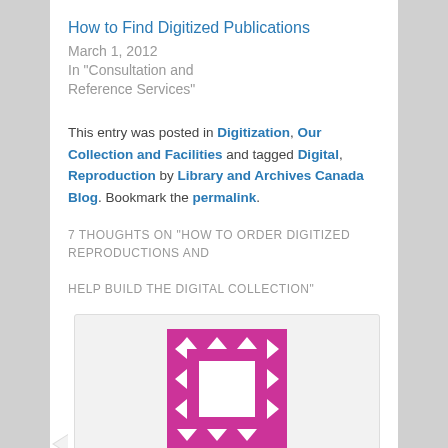How to Find Digitized Publications
March 1, 2012
In "Consultation and Reference Services"
This entry was posted in Digitization, Our Collection and Facilities and tagged Digital, Reproduction by Library and Archives Canada Blog. Bookmark the permalink.
7 THOUGHTS ON "HOW TO ORDER DIGITIZED REPRODUCTIONS AND HELP BUILD THE DIGITAL COLLECTION"
[Figure (illustration): Pink and white geometric avatar icon with arrows/chevrons around a white square center]
JDR on December 29, 2011 at 3:03 pm said:
As there is a public as well as a private benefit to the digitization option why wouldn't the individual